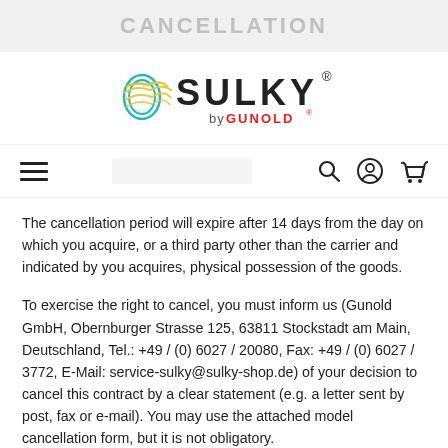CANCELLATION
[Figure (logo): Sulky by Gunold logo with decorative thread spool graphic]
The cancellation period will expire after 14 days from the day on which you acquire, or a third party other than the carrier and indicated by you acquires, physical possession of the goods.
To exercise the right to cancel, you must inform us (Gunold GmbH, Obernburger Strasse 125, 63811 Stockstadt am Main, Deutschland, Tel.: +49 / (0) 6027 / 20080, Fax: +49 / (0) 6027 / 3772, E-Mail: service-sulky@sulky-shop.de) of your decision to cancel this contract by a clear statement (e.g. a letter sent by post, fax or e-mail). You may use the attached model cancellation form, but it is not obligatory.
To meet the cancellation deadline, it is sufficient for you to send your communication concerning your exercise of the right to cancel before the cancellation period has expired.